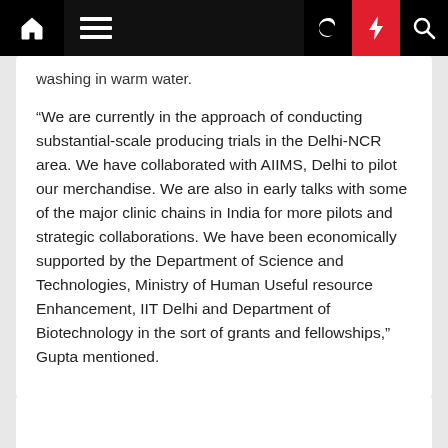Navigation bar with home, menu, moon, lightning, and search icons
washing in warm water.
“We are currently in the approach of conducting substantial-scale producing trials in the Delhi-NCR area. We have collaborated with AIIMS, Delhi to pilot our merchandise. We are also in early talks with some of the major clinic chains in India for more pilots and strategic collaborations. We have been economically supported by the Department of Science and Technologies, Ministry of Human Useful resource Enhancement, IIT Delhi and Department of Biotechnology in the sort of grants and fellowships,” Gupta mentioned.